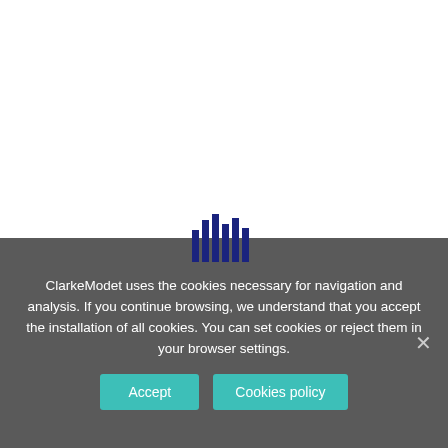[Figure (logo): ClarkeModet logo — vertical blue bars of varying heights forming a bar-chart-like icon]
ClarkeModet uses the cookies necessary for navigation and analysis. If you continue browsing, we understand that you accept the installation of all cookies. You can set cookies or reject them in your browser settings.
Accept
Cookies policy